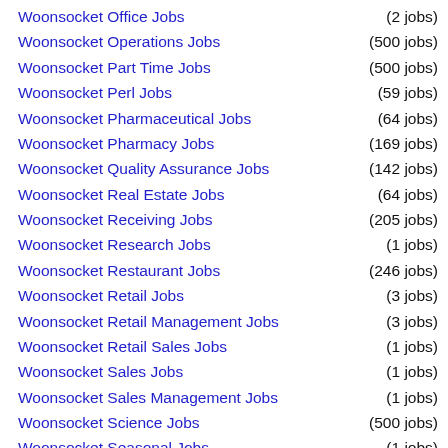Woonsocket Office Jobs (2 jobs)
Woonsocket Operations Jobs (500 jobs)
Woonsocket Part Time Jobs (500 jobs)
Woonsocket Perl Jobs (59 jobs)
Woonsocket Pharmaceutical Jobs (64 jobs)
Woonsocket Pharmacy Jobs (169 jobs)
Woonsocket Quality Assurance Jobs (142 jobs)
Woonsocket Real Estate Jobs (64 jobs)
Woonsocket Receiving Jobs (205 jobs)
Woonsocket Research Jobs (1 jobs)
Woonsocket Restaurant Jobs (246 jobs)
Woonsocket Retail Jobs (3 jobs)
Woonsocket Retail Management Jobs (3 jobs)
Woonsocket Retail Sales Jobs (1 jobs)
Woonsocket Sales Jobs (1 jobs)
Woonsocket Sales Management Jobs (1 jobs)
Woonsocket Science Jobs (500 jobs)
Woonsocket Seasonal Jobs (1 jobs)
Woonsocket Security Clearance Jobs (266 jobs)
Woonsocket Software Jobs (500 jobs)